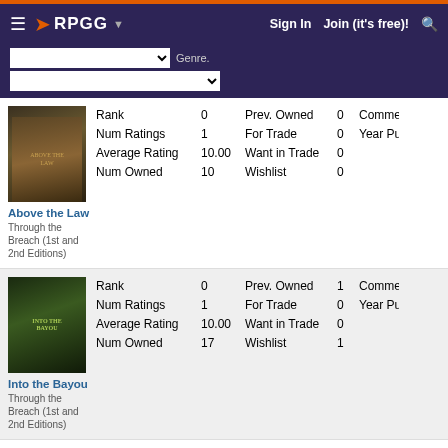RPGG | Sign In | Join (it's free)!
| Item | Stat | Value | Stat | Value | Stat |
| --- | --- | --- | --- | --- | --- |
| Above the Law / Through the Breach (1st and 2nd Editions) | Rank | 0 | Prev. Owned | 0 | Comme... |
|  | Num Ratings | 1 | For Trade | 0 | Year Pu... |
|  | Average Rating | 10.00 | Want in Trade | 0 |  |
|  | Num Owned | 10 | Wishlist | 0 |  |
| Into the Bayou / Through the Breach (1st and 2nd Editions) | Rank | 0 | Prev. Owned | 1 | Comme... |
|  | Num Ratings | 1 | For Trade | 0 | Year Pu... |
|  | Average Rating | 10.00 | Want in Trade | 0 |  |
|  | Num Owned | 17 | Wishlist | 1 |  |
| (third item) | Rank | 0 | Prev. Owned | 0 | Comme... |
|  | Num Ratings | 1 | For Trade | 0 | Year Pu... |
|  | Average Rating | 10.00 | Want in Trade | 0 |  |